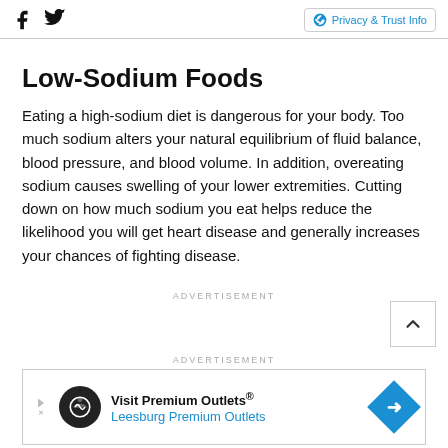Facebook icon, Twitter icon, Privacy & Trust Info
Low-Sodium Foods
Eating a high-sodium diet is dangerous for your body. Too much sodium alters your natural equilibrium of fluid balance, blood pressure, and blood volume. In addition, overeating sodium causes swelling of your lower extremities. Cutting down on how much sodium you eat helps reduce the likelihood you will get heart disease and generally increases your chances of fighting disease.
ADVERTISEMENT
ADVERTISEMENT
[Figure (infographic): Advertisement banner for Visit Premium Outlets - Leesburg Premium Outlets with logo and arrow icon]